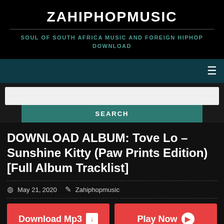ZAHIPHOPMUSIC
SOUL OF SOUTH AFRICA MUSIC AND FOREIGN HIPHOP DOWNLOAD
[Figure (screenshot): Navigation bar with hamburger menu icon on dark teal background]
[Figure (screenshot): Search bar with white input field and teal SEARCH button]
DOWNLOAD ALBUM: Tove Lo – Sunshine Kitty (Paw Prints Edition) [Full Album Tracklist]
May 21, 2020 Zahiphopmusic
[Figure (screenshot): Two red buttons: Download Mp3 with down arrow and Play Now with play arrow]